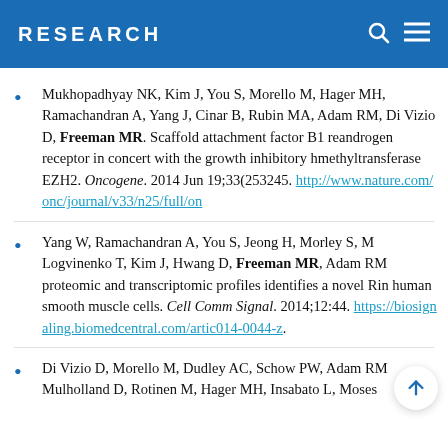RESEARCH
Mukhopadhyay NK, Kim J, You S, Morello M, Hager MH, Ramachandran A, Yang J, Cinar B, Rubin MA, Adam RM, Di Vizio D, Freeman MR. Scaffold attachment factor B1 represses androgen receptor in concert with the growth inhibitory histone methyltransferase EZH2. Oncogene. 2014 Jun 19;33(25):3245. http://www.nature.com/onc/journal/v33/n25/full/on...
Yang W, Ramachandran A, You S, Jeong H, Morley S, M... Logvinenko T, Kim J, Hwang D, Freeman MR, Adam RM... proteomic and transcriptomic profiles identifies a novel R... in human smooth muscle cells. Cell Comm Signal. 2014;12:44. https://biosignaling.biomedcentral.com/artic...014-0044-z.
Di Vizio D, Morello M, Dudley AC, Schow PW, Adam RM, Mulholland D, Rotinen M, Hager MH, Insabato L, Moses...